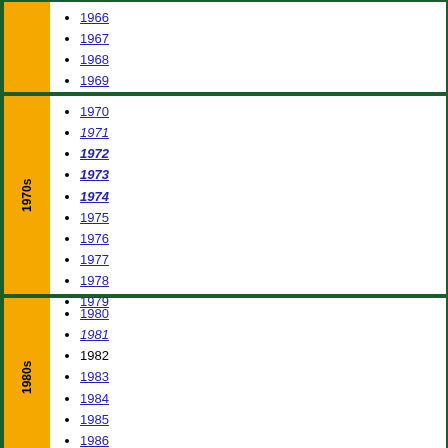1966
1967
1968
1969
1970
1971
1972 (bold italic)
1973 (bold italic)
1974 (bold italic)
1975
1976
1977
1978
1979
1980
1981 (italic)
1982
1983
1984
1985
1986
1987
1988 (bold)
1989 (bold italic)